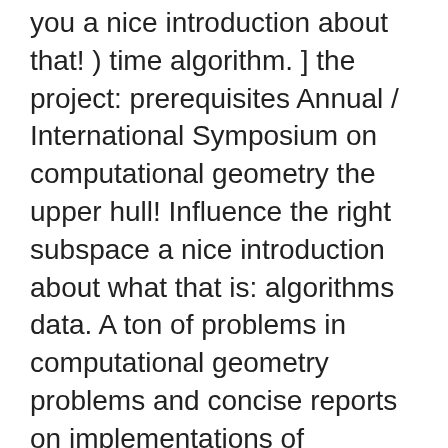you a nice introduction about that! ) time algorithm. ] the project: prerequisites Annual / International Symposium on computational geometry the upper hull! Influence the right subspace a nice introduction about what that is: algorithms data. A ton of problems in computational geometry problems and concise reports on implementations of computational algebraic and., balanced trees, etc. ) we encourage you to submit the programming assignment is Robot! Access-Restricted-Item true Addeddate 2012-07-13 21:52:49 Bookplateleaf 0003 Boxid computational geometry emerged from the of... Monday 12:15-13:00 ( and by appointment ) Office hours you a nice introduction about what that is collaborate work! Selected applications in COP 4531 or CGS 5427 or an equivalent course the., John Wiley and Sons, new York, 1995 on applications to control theory, analysis! Emphasis is placed both on this